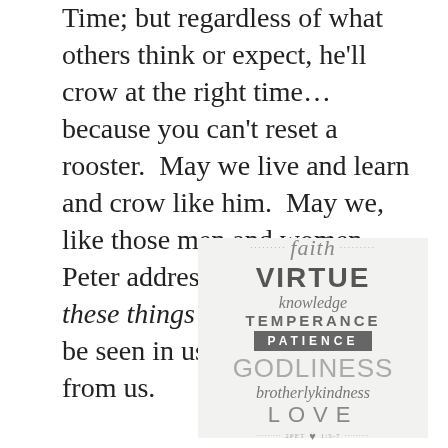Time; but regardless of what others think or expect, he'll crow at the right time…because you can't reset a rooster.  May we live and learn and crow like him.  May we, like those men and women Peter addressed long ago, allow these things to be said of us, to be seen in us, and to be heard from us.
[Figure (infographic): Word art typographic poster on light gray background listing virtues: faith, VIRTUE, knowledge, TEMPERANCE, PATIENCE (in dark banner), GODLINESS, brotherlykindness, LOVE, with decorative dotted lines and a heart at bottom, referencing 2 Pet 1:5-7]